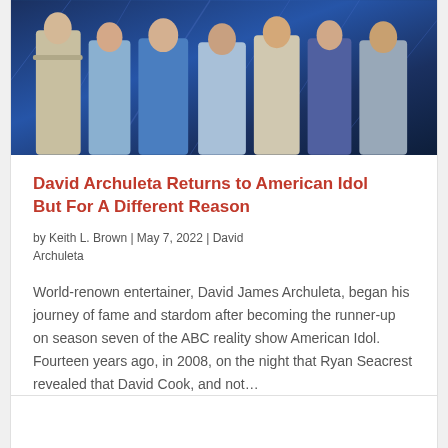[Figure (photo): Group of people standing on a stage with blue sparkly background, appearing to be on a TV show set]
David Archuleta Returns to American Idol But For A Different Reason
by Keith L. Brown | May 7, 2022 | David Archuleta
World-renown entertainer, David James Archuleta, began his journey of fame and stardom after becoming the runner-up on season seven of the ABC reality show American Idol. Fourteen years ago, in 2008, on the night that Ryan Seacrest revealed that David Cook, and not...